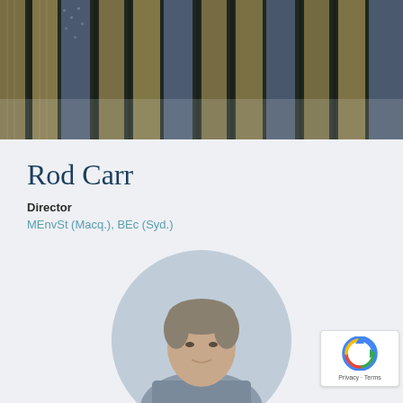[Figure (photo): Aerial view of agricultural fields showing rows of tall dry grasses/crops alternating with rows of lavender or similar purple-flowering plants, photographed from above]
Rod Carr
Director
MEnvSt (Macq.), BEc (Syd.)
[Figure (photo): Circular portrait photo of Rod Carr, a middle-aged man with grey-brown hair, shown from shoulders up against a light grey-blue background]
[Figure (other): reCAPTCHA badge with Google reCAPTCHA logo and Privacy - Terms text]